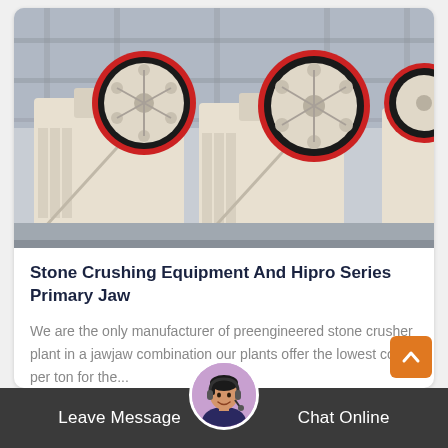[Figure (photo): Industrial jaw crusher machines lined up in a factory setting. Large machines with red and black flywheels on white/cream bodies, with industrial structure in background.]
Stone Crushing Equipment And Hipro Series Primary Jaw
We are the only manufacturer of preengineered stone crusher plant in a jawjaw combination our plants offer the lowest cost per ton for the...
More Details
Leave Message  Chat Online